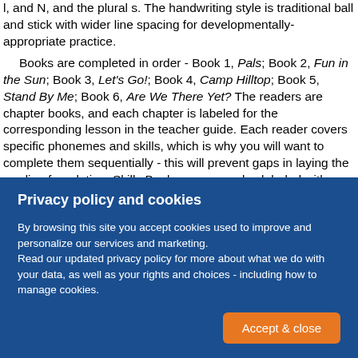l, and N, and the plural s. The handwriting style is traditional ball and stick with wider line spacing for developmentally-appropriate practice.
Books are completed in order - Book 1, Pals; Book 2, Fun in the Sun; Book 3, Let's Go!; Book 4, Camp Hilltop; Book 5, Stand By Me; Book 6, Are We There Yet? The readers are chapter books, and each chapter is labeled for the corresponding lesson in the teacher guide. Each reader covers specific phonemes and skills, which is why you will want to complete them sequentially - this will prevent gaps in laying the reading foundation. Skills Book pages are also labeled with
Privacy policy and cookies
By browsing this site you accept cookies used to improve and personalize our services and marketing. Read our updated privacy policy for more about what we do with your data, as well as your rights and choices - including how to manage cookies.